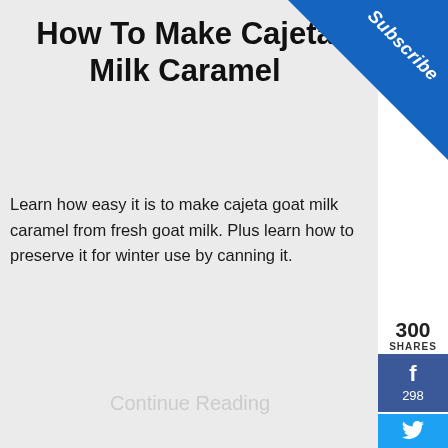How To Make Cajeta Milk Caramel
Learn how easy it is to make cajeta goat milk caramel from fresh goat milk. Plus learn how to preserve it for winter use by canning it.
Continue Reading
[Figure (screenshot): Subscribe ribbon in blue triangle in top-right corner]
300 SHARES
[Figure (screenshot): Facebook share button showing 298 shares]
[Figure (screenshot): Twitter share button]
[Figure (screenshot): Pinterest share button showing 2 saves]
[Figure (photo): Circular thumbnail of Pecan-Crusted Goat Cheese Appetizer recipe with Click Here To Learn More bubble]
No compatible source was found for this media.
[Figure (screenshot): Pinterest circle button (red) bottom right]
Save on Select Vitamins Walgreens Photo